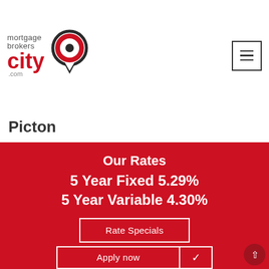[Figure (logo): Mortgage Brokers City logo with red target/pin icon]
Picton
Our Rates
5 Year Fixed 5.29%
5 Year Variable 4.30%
Rate Specials
Apply now